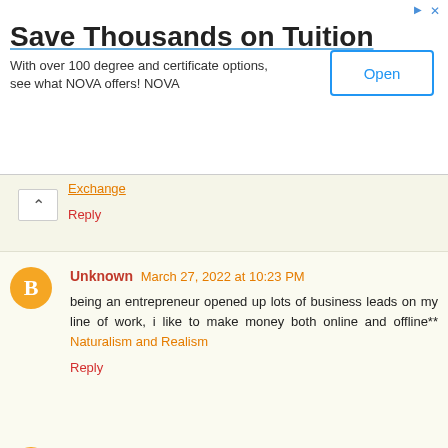[Figure (other): Advertisement banner for NOVA community college. Title: 'Save Thousands on Tuition'. Body: 'With over 100 degree and certificate options, see what NOVA offers! NOVA'. Open button on right.]
Exchange
Reply
Unknown March 27, 2022 at 10:23 PM
being an entrepreneur opened up lots of business leads on my line of work, i like to make money both online and offline** Naturalism and Realism
Reply
Unknown March 27, 2022 at 10:24 PM
Hi there, May I grab your image and implement it on my web log? Chemiosmosis
Reply